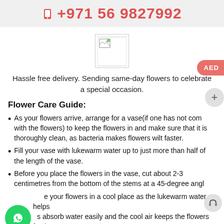+971 56 9827992
[Figure (logo): Small logo image placeholder with broken image icon]
Hassle free delivery. Sending same-day flowers to celebrate a special occasion.
Flower Care Guide:
As your flowers arrive, arrange for a vase(if one has not come with the flowers) to keep the flowers in and make sure that it is thoroughly clean, as bacteria makes flowers wilt faster.
Fill your vase with lukewarm water up to just more than half of the length of the vase.
Before you place the flowers in the vase, cut about 2-3 centimetres from the bottom of the stems at a 45-degree angle.
Place your flowers in a cool place as the lukewarm water helps the stems absorb water easily and the cool air keeps the flowers fresh.